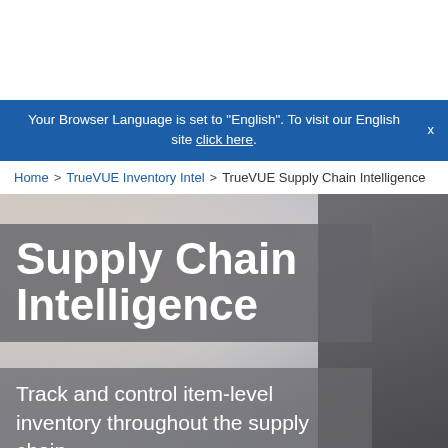Your Browser Language is set to "English". To visit our English site click here.
Home > TrueVUE Inventory Intel > TrueVUE Supply Chain Intelligence
[Figure (photo): Hero image of a person (healthcare professional with glasses) in a blurred corridor background, with overlay text boxes showing the product name and tagline.]
Supply Chain Intelligence
Track and control item-level inventory throughout the supply chain.